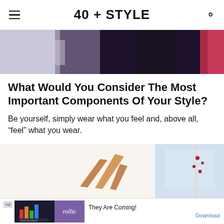40 + STYLE
[Figure (photo): Partial top photo showing dark purple/blue tones and a pink/red element on the right, appears to be a fashion-related image cropped at top.]
What Would You Consider The Most Important Components Of Your Style?
Be yourself, simply wear what you feel and, above all, “feel” what you wear.
[Figure (photo): Partial bottom photo showing white background with wooden/orange sculptural elements on the left and a window with small red flowers on the right.]
Ad  rollic  They Are Coming!  Download